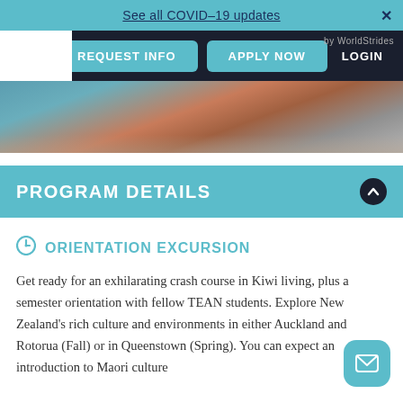See all COVID-19 updates
REQUEST INFO   APPLY NOW   LOGIN
[Figure (photo): Aerial or landscape photo of New Zealand coastal/geothermal scenery with water and red/orange earth tones]
PROGRAM DETAILS
ORIENTATION EXCURSION
Get ready for an exhilarating crash course in Kiwi living, plus a semester orientation with fellow TEAN students. Explore New Zealand's rich culture and environments in either Auckland and Rotorua (Fall) or in Queenstown (Spring). You can expect an introduction to Maori culture